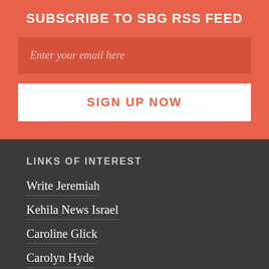SUBSCRIBE TO SBG RSS FEED
Enter your email here
SIGN UP NOW
LINKS OF INTEREST
Write Jeremiah
Kehila News Israel
Caroline Glick
Carolyn Hyde
Bill Koenig